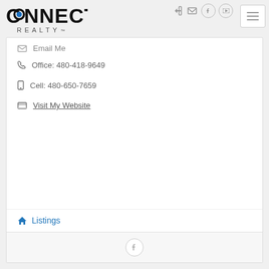[Figure (logo): Connect Realty logo with blue dot in O]
[Figure (other): Top-right navigation icons: login, email, facebook, youtube]
[Figure (other): Hamburger menu icon button]
Email Me
Office: 480-418-9649
Cell: 480-650-7659
Visit My Website
Listings
[Figure (other): Facebook circle icon in footer]